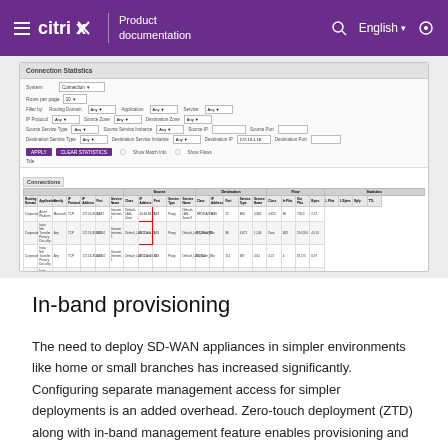Citrix Product documentation — English
[Figure (screenshot): Citrix SD-WAN management console showing Connection Statistics with filter form and a data table listing flow entries with columns for routing domain, application, family, IP protocol, IP address, port, source/destination information, and statistics.]
In-band provisioning
The need to deploy SD-WAN appliances in simpler environments like home or small branches has increased significantly. Configuring separate management access for simpler deployments is an added overhead. Zero-touch deployment (ZTD) along with in-band management feature enables provisioning and configuration management via designated data ports. ZTD is now supported on the